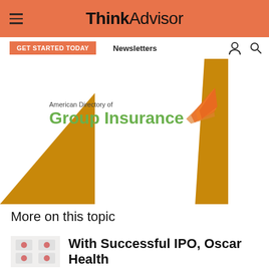ThinkAdvisor
[Figure (screenshot): Navigation bar with GET STARTED TODAY button, Newsletters link, user icon, and search icon]
[Figure (illustration): Advertisement for American Directory of Group Insurance with gold geometric shapes and green/orange logo]
More on this topic
[Figure (photo): Thumbnail image for Oscar Health article]
With Successful IPO, Oscar Health